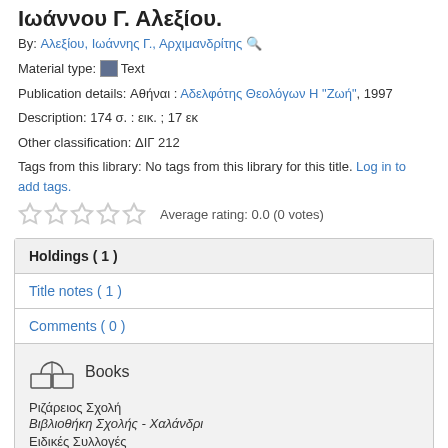Ιωάννου Γ. Αλεξίου.
By: Αλεξίου, Ιωάννης Γ., Αρχιμανδρίτης
Material type: Text
Publication details: Αθήναι : Αδελφότης Θεολόγων Η "Ζωή", 1997
Description: 174 σ. : εικ. ; 17 εκ
Other classification: ΔΙΓ 212
Tags from this library: No tags from this library for this title. Log in to add tags.
Average rating: 0.0 (0 votes)
Holdings ( 1 )
Title notes ( 1 )
Comments ( 0 )
Books
Ριζάρειος Σχολή
Βιβλιοθήκη Σχολής - Χαλάνδρι
Ειδικές Συλλογές